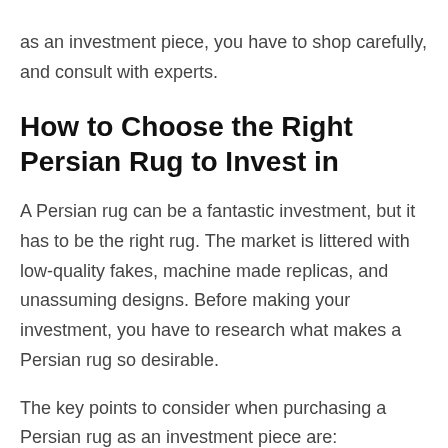as an investment piece, you have to shop carefully, and consult with experts.
How to Choose the Right Persian Rug to Invest in
A Persian rug can be a fantastic investment, but it has to be the right rug. The market is littered with low-quality fakes, machine made replicas, and unassuming designs. Before making your investment, you have to research what makes a Persian rug so desirable.
The key points to consider when purchasing a Persian rug as an investment piece are: